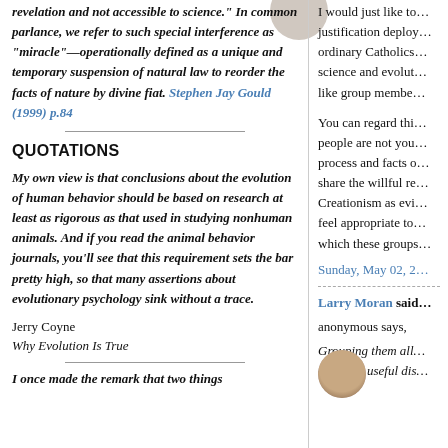revelation and not accessible to science." In common parlance, we refer to such special interference as "miracle"—operationally defined as a unique and temporary suspension of natural law to reorder the facts of nature by divine fiat. Stephen Jay Gould (1999) p.84
QUOTATIONS
My own view is that conclusions about the evolution of human behavior should be based on research at least as rigorous as that used in studying nonhuman animals. And if you read the animal behavior journals, you'll see that this requirement sets the bar pretty high, so that many assertions about evolutionary psychology sink without a trace.
Jerry Coyne
Why Evolution Is True
I once made the remark that two things
I would just like to... justification deploy... ordinary Catholics... science and evolut... like group membe...
You can regard thi... people are not you... process and facts o... share the willful re... Creationism as evi... feel appropriate to... which these groups...
Sunday, May 02, 2...
Larry Moran said...
anonymous says,
Grouping them all... obscures useful dis...